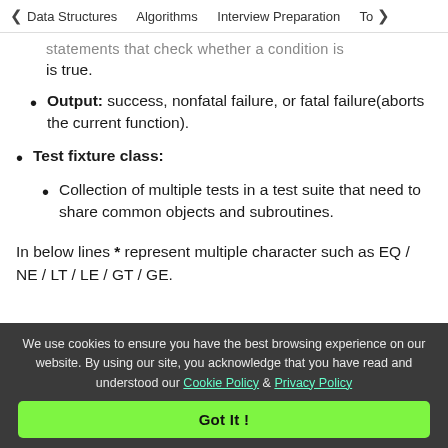Data Structures   Algorithms   Interview Preparation   To>
statements that check whether a condition is true.
Output: success, nonfatal failure, or fatal failure(aborts the current function).
Test fixture class:
Collection of multiple tests in a test suite that need to share common objects and subroutines.
In below lines * represent multiple character such as EQ / NE / LT / LE / GT / GE.
We use cookies to ensure you have the best browsing experience on our website. By using our site, you acknowledge that you have read and understood our Cookie Policy & Privacy Policy
Got It !